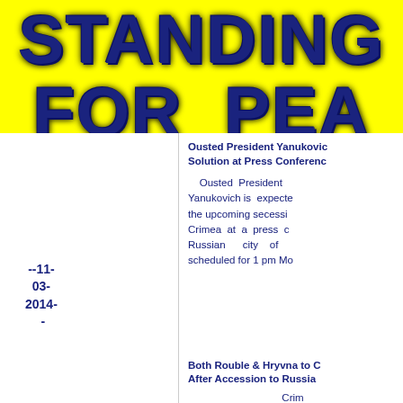[Figure (illustration): Yellow banner with large dark blue cracked/textured text reading 'STANDING FOR PEA' (partially cropped)]
Ousted President Yanukovic Solution at Press Conference
Ousted President Yanukovich is expected the upcoming secession Crimea at a press c Russian city of scheduled for 1 pm Mo
--11-03-2014--
Both Rouble & Hryvna to C After Accession to Russia
Crim...